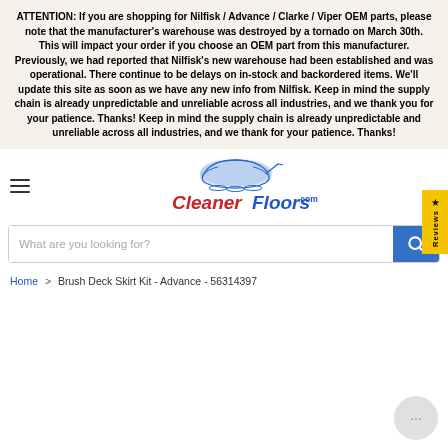ATTENTION: If you are shopping for Nilfisk / Advance / Clarke / Viper OEM parts, please note that the manufacturer's warehouse was destroyed by a tornado on March 30th. This will impact your order if you choose an OEM part from this manufacturer. Previously, we had reported that Nilfisk's new warehouse had been established and was operational. There continue to be delays on in-stock and backordered items. We'll update this site as soon as we have any new info from Nilfisk. Keep in mind the supply chain is already unpredictable and unreliable across all industries, and we thank you for your patience. Thanks! Keep in mind the supply chain is already unpredictable and unreliable across all industries, and we thank for your patience. Thanks!
[Figure (logo): CleanerFloors.com logo with blue floor scrubber machine icon above red and blue text]
What are you looking for?
Home > Brush Deck Skirt Kit - Advance - 56314397